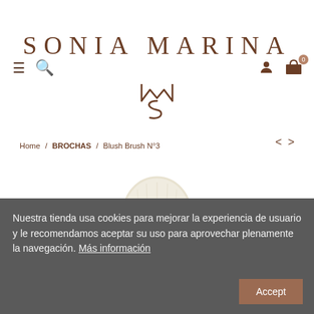SONIA MARINA
Home / BROCHAS / Blush Brush N°3
[Figure (photo): A round fluffy make-up blush brush with cream/ivory colored bristles, shown from the top, partially visible]
Nuestra tienda usa cookies para mejorar la experiencia de usuario y le recomendamos aceptar su uso para aprovechar plenamente la navegación. Más información